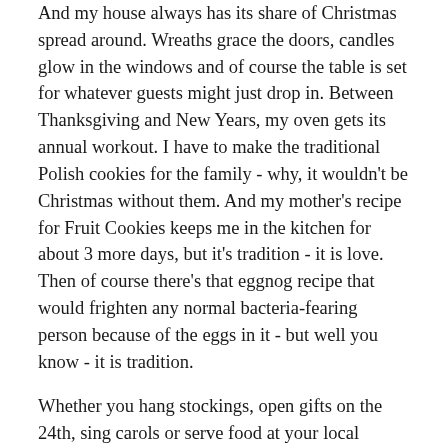And my house always has its share of Christmas spread around. Wreaths grace the doors, candles glow in the windows and of course the table is set for whatever guests might just drop in. Between Thanksgiving and New Years, my oven gets its annual workout. I have to make the traditional Polish cookies for the family - why, it wouldn't be Christmas without them. And my mother's recipe for Fruit Cookies keeps me in the kitchen for about 3 more days, but it's tradition - it is love. Then of course there's that eggnog recipe that would frighten any normal bacteria-fearing person because of the eggs in it - but well you know - it is tradition.
Whether you hang stockings, open gifts on the 24th, sing carols or serve food at your local homeless shelter, you have traditions that are important to you and to your family. You might attend a Christmas Eve service in your church or have a block party with your neighbors. You might be up all night putting toys together and taking a requisite bite out of cookies left for Santa.
It's traditional for me to find people on my list whose gift I literally agonize about. I may think of half-dozen things for them,